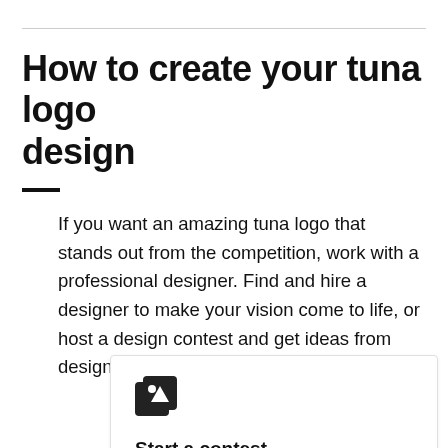How to create your tuna logo design
If you want an amazing tuna logo that stands out from the competition, work with a professional designer. Find and hire a designer to make your vision come to life, or host a design contest and get ideas from designers around the world.
Start a contest
Designers from around the